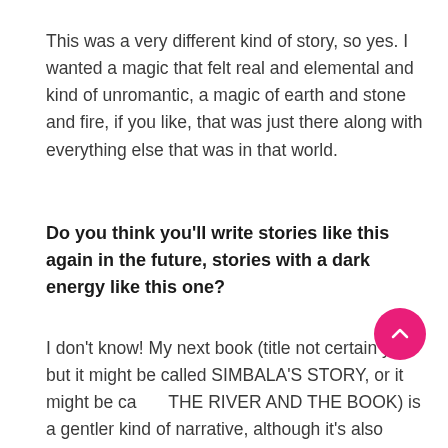This was a very different kind of story, so yes. I wanted a magic that felt real and elemental and kind of unromantic, a magic of earth and stone and fire, if you like, that was just there along with everything else that was in that world.
Do you think you'll write stories like this again in the future, stories with a dark energy like this one?
I don't know! My next book (title not certain yet, but it might be called SIMBALA'S STORY, or it might be called THE RIVER AND THE BOOK) is a gentler kind of narrative, although it's also about love and friendship and loss. I wrote it at the same time as I was writing BLACK SPRING, so maybe it's the other side of the